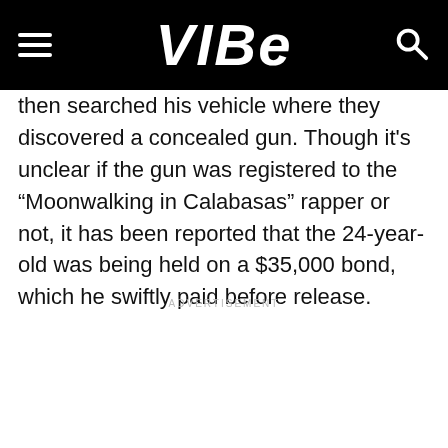VIBE
then searched his vehicle where they discovered a concealed gun. Though it's unclear if the gun was registered to the “Moonwalking in Calabasas” rapper or not, it has been reported that the 24-year-old was being held on a $35,000 bond, which he swiftly paid before release.
ADVERTISEMENT